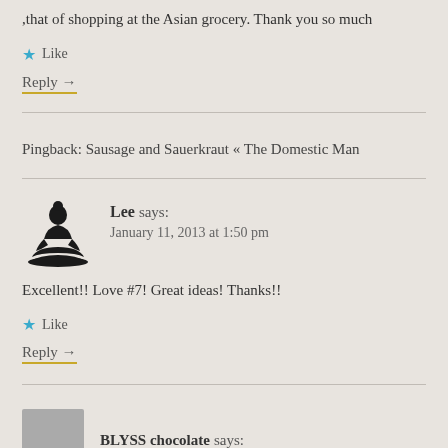,that of shopping at the Asian grocery. Thank you so much
★ Like
Reply →
Pingback: Sausage and Sauerkraut « The Domestic Man
Lee says: January 11, 2013 at 1:50 pm
Excellent!! Love #7! Great ideas! Thanks!!
★ Like
Reply →
BLYSS chocolate says: